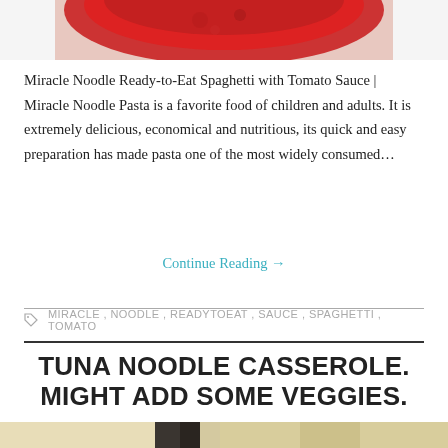[Figure (photo): Top portion of a food photo showing a red tomato sauce dish, partially cropped at top of page]
Miracle Noodle Ready-to-Eat Spaghetti with Tomato Sauce | Miracle Noodle Pasta is a favorite food of children and adults. It is extremely delicious, economical and nutritious, its quick and easy preparation has made pasta one of the most widely consumed…
Continue Reading →
MIRACLE , NOODLE , READYTOEAT , SAUCE , SPAGHETTI , TOMATO
TUNA NOODLE CASSEROLE. MIGHT ADD SOME VEGGIES.
[Figure (photo): Bottom portion showing a blurred food photo, partially cropped at bottom of page]